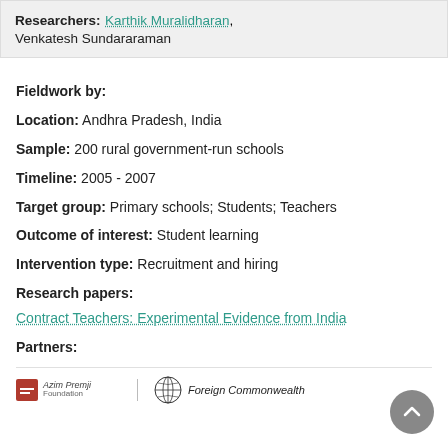Researchers: Karthik Muralidharan, Venkatesh Sundararaman
Fieldwork by:
Location: Andhra Pradesh, India
Sample: 200 rural government-run schools
Timeline: 2005 - 2007
Target group: Primary schools; Students; Teachers
Outcome of interest: Student learning
Intervention type: Recruitment and hiring
Research papers:
Contract Teachers: Experimental Evidence from India
Partners:
[Figure (logo): Azim Premji logo and Foreign Commonwealth logos at bottom of page]